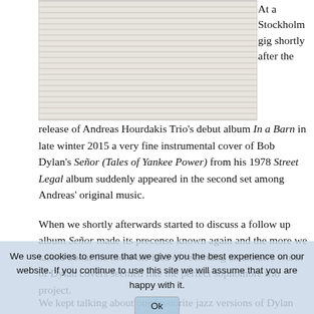[Figure (photo): A white lace fabric or curtain photographed from below, showing intricate woven patterns.]
At a Stockholm gig shortly after the release of Andreas Hourdakis Trio's debut album In a Barn in late winter 2015 a very fine instrumental cover of Bob Dylan's Señor (Tales of Yankee Power) from his 1978 Street Legal album suddenly appeared in the second set among Andreas' original music.
When we shortly afterwards started to discuss a follow up album Señor made its precense known again and the more we talked about the more the idea of recording an album's worth of Dylan covers seemed like the perfect sophomore trio project.
We use cookies to ensure that we give you the best experience on our website. If you continue to use this site we will assume that you are happy with it.
We kept talking about our favourite jazz versions of Dylan songs. We started to mine our recollections and record